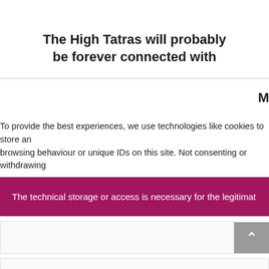The High Tatras will probably be forever connected with
M
To provide the best experiences, we use technologies like cookies to store and/or access device browsing behaviour or unique IDs on this site. Not consenting or withdrawing
The technical storage or access is necessary for the legitimate